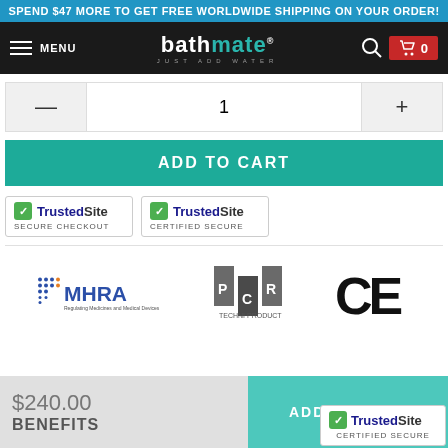SPEND $47 MORE TO GET FREE WORLDWIDE SHIPPING ON YOUR ORDER!
[Figure (screenshot): Bathmate website navigation bar with hamburger menu, logo, search icon, and cart icon showing 0 items]
1
ADD TO CART
[Figure (logo): TrustedSite Secure Checkout badge]
[Figure (logo): TrustedSite Certified Secure badge]
[Figure (logo): MHRA Regulating Medicines and Medical Devices logo]
[Figure (logo): PCR Techni Product Bureau logo]
[Figure (logo): CE mark certification logo]
$240.00
BENEFITS
ADD TO CART
[Figure (logo): TrustedSite Certified Secure badge in bottom right corner]